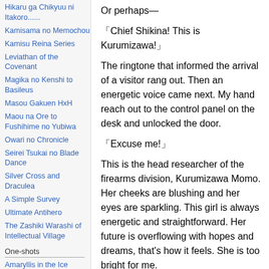Hikaru ga Chikyuu ni Itakoro......
Kamisama no Memochou
Kamisu Reina Series
Leviathan of the Covenant
Magika no Kenshi to Basileus
Masou Gakuen HxH
Maou na Ore to Fushihime no Yubiwa
Owari no Chronicle
Seirei Tsukai no Blade Dance
Silver Cross and Draculea
A Simple Survey
Ultimate Antihero
The Zashiki Warashi of Intellectual Village
One-shots
Amaryllis in the Ice Country
(The) Circumstances
Or perhaps—
「Chief Shikina! This is Kurumizawa!」
The ringtone that informed the arrival of a visitor rang out. Then an energetic voice came next. My hand reach out to the control panel on the desk and unlocked the door.
「Excuse me!」
This is the head researcher of the firearms division, Kurumizawa Momo. Her cheeks are blushing and her eyes are sparkling. This girl is always energetic and straightforward. Her future is overflowing with hopes and dreams, that's how it feels. She is too bright for me.
「Chief Shikina, I bring the report for today!」
Her momentum feels like she is even